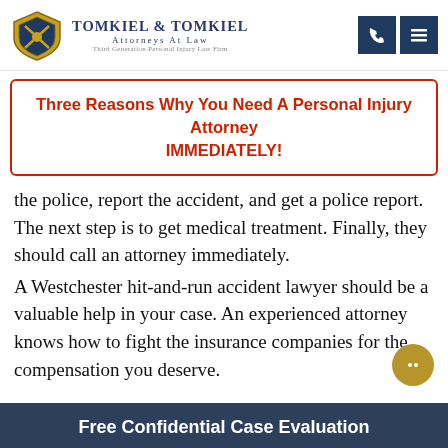[Figure (logo): Tomkiel & Tomkiel law firm logo with shield and crossed weapons, along with firm name and tagline]
Three Reasons Why You Need A Personal Injury Attorney IMMEDIATELY!
the police, report the accident, and get a police report. The next step is to get medical treatment. Finally, they should call an attorney immediately.
A Westchester hit-and-run accident lawyer should be a valuable help in your case. An experienced attorney knows how to fight the insurance companies for the compensation you deserve.
Free Confidential Case Evaluation